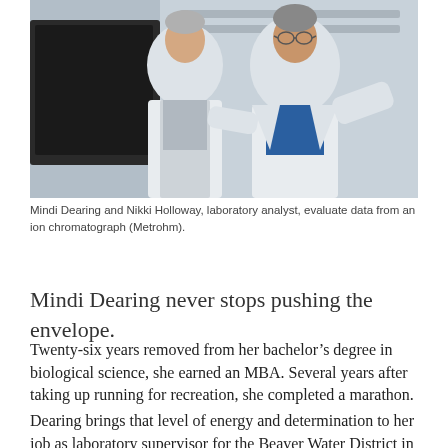[Figure (photo): Two people in white lab coats standing in a laboratory, viewed from the front, in front of a dark monitor or equipment. Appears to be Mindi Dearing and Nikki Holloway.]
Mindi Dearing and Nikki Holloway, laboratory analyst, evaluate data from an ion chromatograph (Metrohm).
Mindi Dearing never stops pushing the envelope.
Twenty-six years removed from her bachelor's degree in biological science, she earned an MBA. Several years after taking up running for recreation, she completed a marathon.
Dearing brings that level of energy and determination to her job as laboratory supervisor for the Beaver Water District in Lowell, Arkansas. She leads a lab team in collecting and analyzing samples from plant process stages, finished water and source